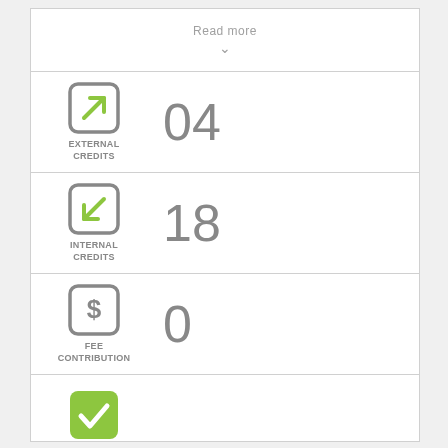Read more
[Figure (infographic): External Credits icon with green arrow pointing outward from a rounded square]
EXTERNAL CREDITS
04
[Figure (infographic): Internal Credits icon with green arrow pointing inward to a rounded square]
INTERNAL CREDITS
18
[Figure (infographic): Fee Contribution icon with dollar sign in a rounded square]
FEE CONTRIBUTION
0
[Figure (infographic): Open Entry icon with green checkmark in a rounded square]
OPEN ENTRY